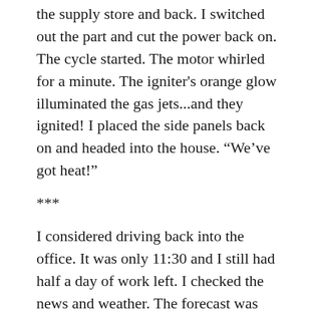the supply store and back. I switched out the part and cut the power back on. The cycle started. The motor whirled for a minute. The igniter's orange glow illuminated the gas jets...and they ignited! I placed the side panels back on and headed into the house. “We’ve got heat!”
***
I considered driving back into the office. It was only 11:30 and I still had half a day of work left. I checked the news and weather. The forecast was iffy. Snow was falling when I emerged from under the house. I decided to stay home. If it was as bad as expected I would get to the office and end up spending the night there due to impassable roads. If the weather was fine I would drive in the next morning. As nearly everyone knows the former scenario transpired. I